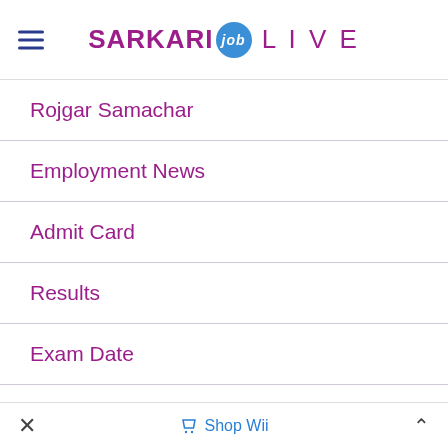SARKARI job LIVE
Rojgar Samachar
Employment News
Admit Card
Results
Exam Date
Interview Results
✕   🏷 Shop Wii   ^